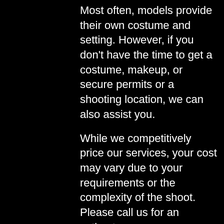Most often, models provide their own costume and setting. However, if you don't have the time to get a costume, makeup, or secure permits or a shooting location, we can also assist you.

While we competitively price our services, your cost may vary due to your requirements or the complexity of the shoot.  Please call us for an estimate.
[Figure (photo): A dark horizontal bar element, likely a UI input or navigation element]
[Figure (photo): A circular/arch-shaped photo of a person (blurred) against a light blue sky background, with navigation buttons (up arrow and chat bubble) overlaid at the bottom]